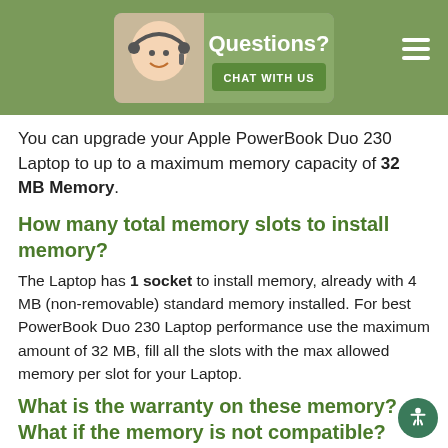[Figure (illustration): Green header bar with a 'Questions? Chat with Us' chat support badge featuring a headset-wearing person, and a hamburger menu icon on the right.]
You can upgrade your Apple PowerBook Duo 230 Laptop to up to a maximum memory capacity of 32 MB Memory.
How many total memory slots to install memory?
The Laptop has 1 socket to install memory, already with 4 MB (non-removable) standard memory installed. For best PowerBook Duo 230 Laptop performance use the maximum amount of 32 MB, fill all the slots with the max allowed memory per slot for your Laptop.
What is the warranty on these memory? What if the memory is not compatible?
We give a guarantee that these memory will be compatible on your PowerBook Duo 230 Laptop. If you have any issues, we provide you with a life-time replacement warranty. We have a 14 days return policy, and you can return the memory if you are not satisfied.
Do you have these memory in stock? What shipping